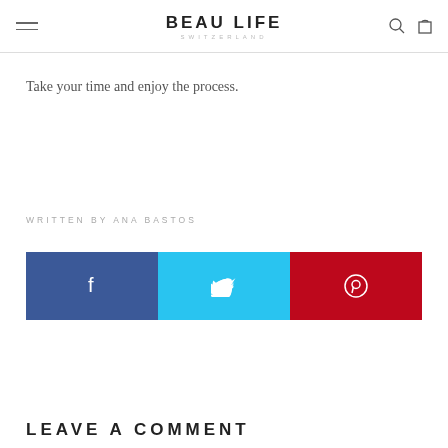BEAU LIFE SWITZERLAND
Take your time and enjoy the process.
WRITTEN BY ANA BASTOS
[Figure (infographic): Social sharing buttons bar: Facebook (blue), Twitter (cyan), Pinterest (red) with respective icons]
LEAVE A COMMENT